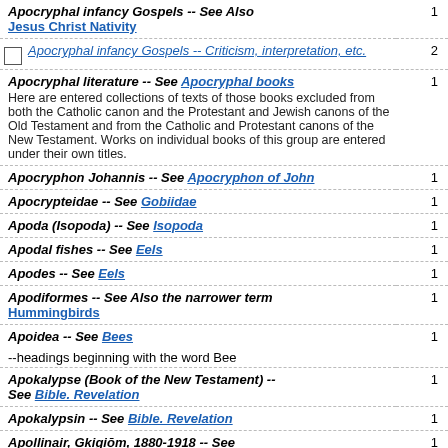Apocryphal infancy Gospels -- See Also Jesus Christ Nativity | 1
Apocryphal infancy Gospels -- Criticism, interpretation, etc. | 2
Apocryphal literature -- See Apocryphal books. Here are entered collections of texts of those books excluded from both the Catholic canon and the Protestant and Jewish canons of the Old Testament and from the Catholic and Protestant canons of the New Testament. Works on individual books of this group are entered under their own titles. | 1
Apocryphon Johannis -- See Apocryphon of John | 1
Apocrypteidae -- See Gobiidae | 1
Apoda (Isopoda) -- See Isopoda | 1
Apodal fishes -- See Eels | 1
Apodes -- See Eels | 1
Apodiformes -- See Also the narrower term Hummingbirds | 1
Apoidea -- See Bees | 1
--headings beginning with the word Bee
Apokalypse (Book of the New Testament) -- See Bible. Revelation | 1
Apokalypsin -- See Bible. Revelation | 1
Apollinair, Gkigiōm, 1880-1918 -- See Apollinaire, Guillaume, 1880-1918 | 1